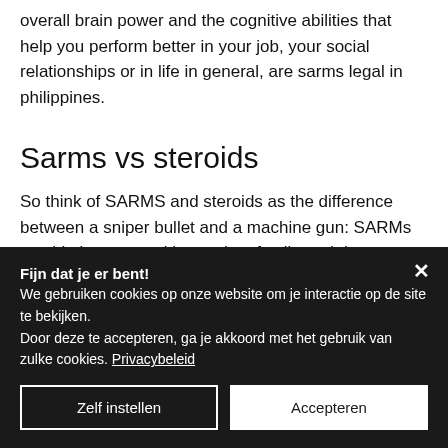overall brain power and the cognitive abilities that help you perform better in your job, your social relationships or in life in general, are sarms legal in philippines.
Sarms vs steroids
So think of SARMS and steroids as the difference between a sniper bullet and a machine gun: SARMs can hit the target without a lot of collateral damage, while a machine gun is intended to take out multiple
Fijn dat je er bent!
We gebruiken cookies op onze website om je interactie op de site te bekijken.
Door deze te accepteren, ga je akkoord met het gebruik van zulke cookies. Privacybeleid
Zelf instellen
Accepteren